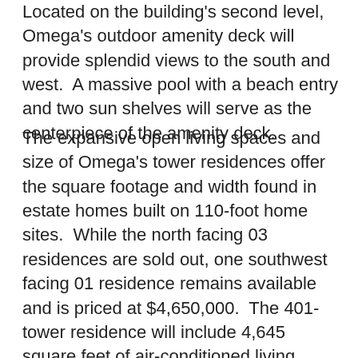Located on the building's second level, Omega's outdoor amenity deck will provide splendid views to the south and west.  A massive pool with a beach entry and two sun shelves will serve as the centerpiece of the amenity deck.
The expansive open living spaces and size of Omega's tower residences offer the square footage and width found in estate homes built on 110-foot home sites.  While the north facing 03 residences are sold out, one southwest facing 01 residence remains available and is priced at $4,650,000.  The 401-tower residence will include 4,645 square feet of air-conditioned living space, an unobstructed 68-foot-wide view, outdoor terraces, and an 80-square foot private air-conditioned storage space on the same floor as the residence.  The plans feature a massive great room, elegant dining area, comfortable family room, and a double-island kitchen.  The great room and owner's bedroom open to a huge west and northwest facing terrace with multiple conversation areas, a dining area, and an outdoor kitchen